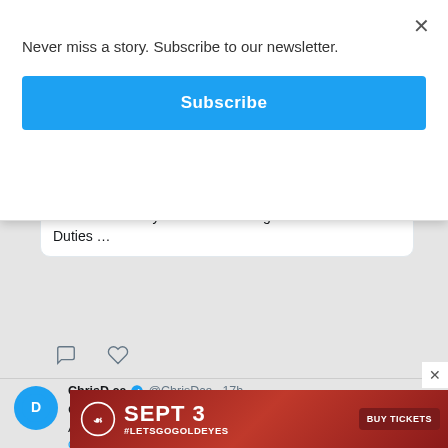Never miss a story. Subscribe to our newsletter.
Subscribe
chrisd.ca
Canada Formally Initiates Challenge of 'Unfair' U.S. Duties …
ChrisD.ca @ChrisDca · 17h
Charges Laid After Woman's Body Found on Manitoba ATV Trail
chrisd.ca/2022/08/29/win…
SEPT 3 #LETSGOGOLDEYES BUY TICKETS